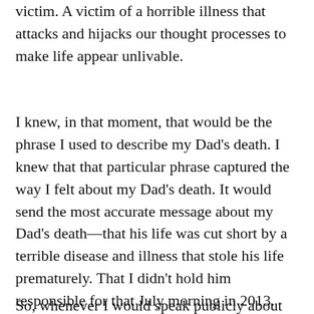victim. A victim of a horrible illness that attacks and hijacks our thought processes to make life appear unlivable.
I knew, in that moment, that would be the phrase I used to describe my Dad's death. I knew that that particular phrase captured the way I felt about my Dad's death. It would send the most accurate message about my Dad's death—that his life was cut short by a terrible disease and illness that stole his life prematurely. That I didn't hold him responsible for that July morning in 2013. That I never, in any moment, blamed him for what happened.
So, whenever I would speak publicly about my Dad